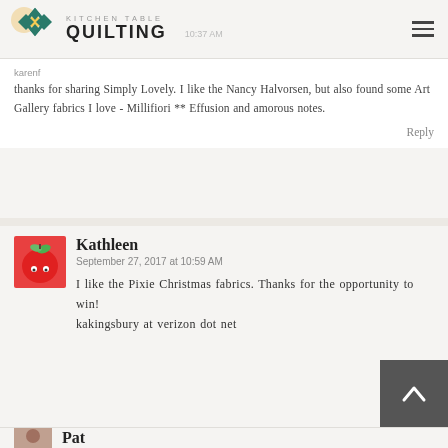Kitchen Table Quilting
karenf
September 27, 2017 at 10:37 AM
thanks for sharing Simply Lovely. I like the Nancy Halvorsen, but also found some Art Gallery fabrics I love - Millifiori ** Effusion and amorous notes.
Reply
Kathleen
September 27, 2017 at 10:59 AM
I like the Pixie Christmas fabrics. Thanks for the opportunity to win!
kakingsbury at verizon dot net
Pat